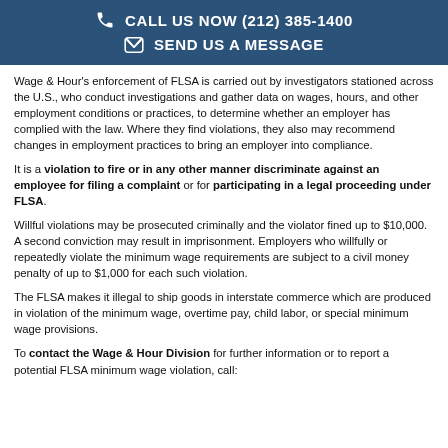CALL US NOW (212) 385-1400 | SEND US A MESSAGE
Wage & Hour's enforcement of FLSA is carried out by investigators stationed across the U.S., who conduct investigations and gather data on wages, hours, and other employment conditions or practices, to determine whether an employer has complied with the law. Where they find violations, they also may recommend changes in employment practices to bring an employer into compliance.
It is a violation to fire or in any other manner discriminate against an employee for filing a complaint or for participating in a legal proceeding under FLSA.
Willful violations may be prosecuted criminally and the violator fined up to $10,000. A second conviction may result in imprisonment. Employers who willfully or repeatedly violate the minimum wage requirements are subject to a civil money penalty of up to $1,000 for each such violation.
The FLSA makes it illegal to ship goods in interstate commerce which are produced in violation of the minimum wage, overtime pay, child labor, or special minimum wage provisions.
To contact the Wage & Hour Division for further information or to report a potential FLSA minimum wage violation, call: